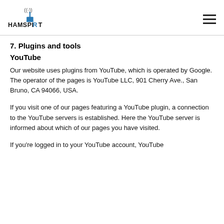HAMSPIRIT
7. Plugins and tools
YouTube
Our website uses plugins from YouTube, which is operated by Google. The operator of the pages is YouTube LLC, 901 Cherry Ave., San Bruno, CA 94066, USA.
If you visit one of our pages featuring a YouTube plugin, a connection to the YouTube servers is established. Here the YouTube server is informed about which of our pages you have visited.
If you're logged in to your YouTube account, YouTube